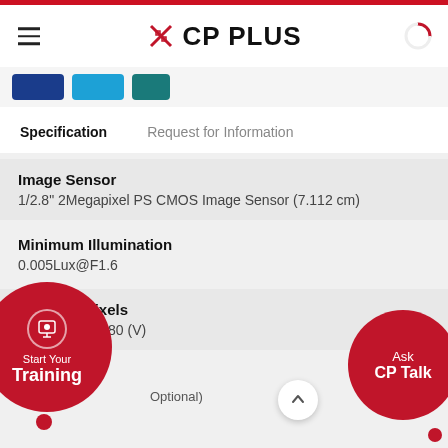CP PLUS
Specification
Request for Information
Image Sensor
1/2.8" 2Megapixel PS CMOS Image Sensor (7.112 cm)
Minimum Illumination
0.005Lux@F1.6
Effective Pixels
1920 (H) x 1080 (V)
Start Your Training
Ask CP Talk